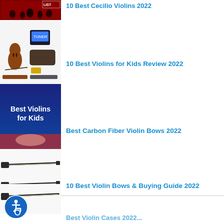[Figure (photo): Partially visible image of an orchestra performance with red background and 'LIST' text visible, cropped at top]
10 Best Cecilio Violins 2022
[Figure (photo): Cecilio violin kit with accessories including bow, case, tuner, and rosin on white background]
10 Best Violins for Kids Review 2022
[Figure (photo): Dark navy blue image with text 'Best Violins for Kids' in white]
Best Carbon Fiber Violin Bows 2022
[Figure (photo): Two carbon fiber violin bows on white background]
10 Best Violin Bows & Buying Guide 2022
[Figure (photo): Violin bow on white background, partially visible]
[Figure (logo): Blue circular accessibility icon with wheelchair symbol]
Best Violin Cases 2022...